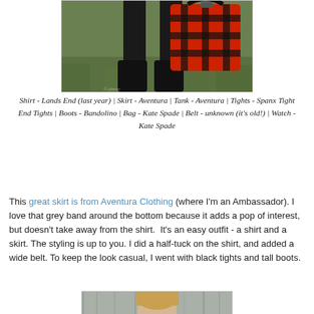[Figure (photo): Cropped bottom portion of a fashion photo showing black boots and a large red and black plaid tote bag, with a grassy outdoor background]
Shirt - Lands End (last year) | Skirt - Aventura | Tank - Aventura | Tights - Spanx Tight End Tights | Boots - Bandolino | Bag - Kate Spade | Belt - unknown (it's old!) | Watch - Kate Spade
This great skirt is from Aventura Clothing (where I'm an Ambassador). I love that grey band around the bottom because it adds a pop of interest, but doesn't take away from the shirt. It's an easy outfit - a shirt and a skirt. The styling is up to you. I did a half-tuck on the shirt, and added a wide belt. To keep the look casual, I went with black tights and tall boots.
[Figure (photo): Partial photo of a woman with blonde hair against a gray wooden fence background, cropped at the bottom of the page]